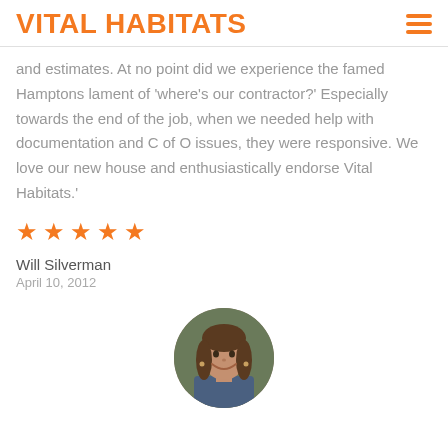VITAL HABITATS
and estimates. At no point did we experience the famed Hamptons lament of 'where's our contractor?' Especially towards the end of the job, when we needed help with documentation and C of O issues, they were responsive. We love our new house and enthusiastically endorse Vital Habitats.'
[Figure (other): Five orange star rating icons]
Will Silverman
April 10, 2012
[Figure (photo): Circular avatar photo of a smiling woman with brown hair]